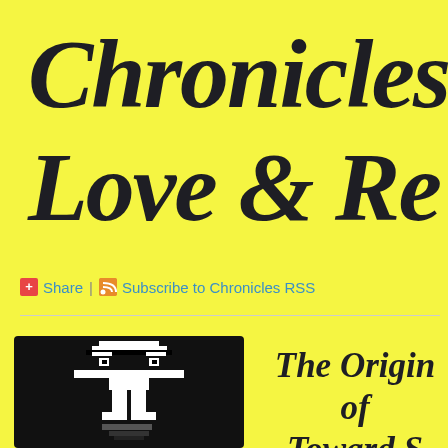Chronicles of Love & Re...
Share | Subscribe to Chronicles RSS
[Figure (illustration): Black and white pixel art illustration of a stylized human figure on black background, resembling a totem or tribal symbol]
The Origin of... Toward S...